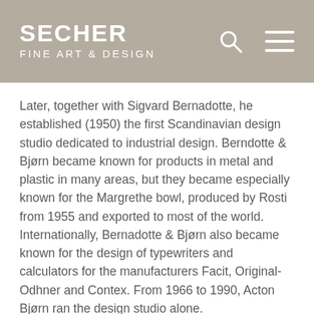SECHER FINE ART & DESIGN
Later, together with Sigvard Bernadotte, he established (1950) the first Scandinavian design studio dedicated to industrial design. Berndotte & Bjørn became known for products in metal and plastic in many areas, but they became especially known for the Margrethe bowl, produced by Rosti from 1955 and exported to most of the world. Internationally, Bernadotte & Bjørn also became known for the design of typewriters and calculators for the manufacturers Facit, Original-Odhner and Contex. From 1966 to 1990, Acton Bjørn ran the design studio alone.
He received numerous awards: Gold Medal at the California State Fair for Design; honorary award from the 2nd Allgemeine Produktschau, Vienna